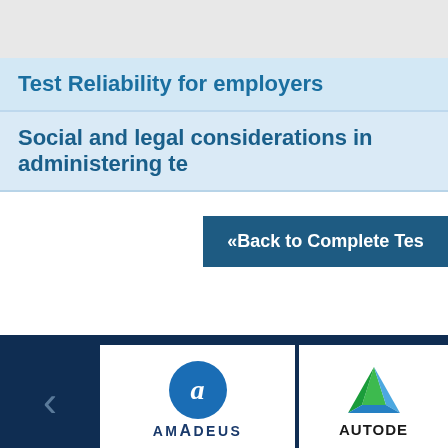Test Reliability for employers
Social and legal considerations in administering te
«Back to Complete Tes
[Figure (logo): Amadeus company logo - blue circle with italic 'a' above AMADEUS text]
[Figure (logo): Autodesk company logo - green and blue triangle above AUTODE text (partially visible)]